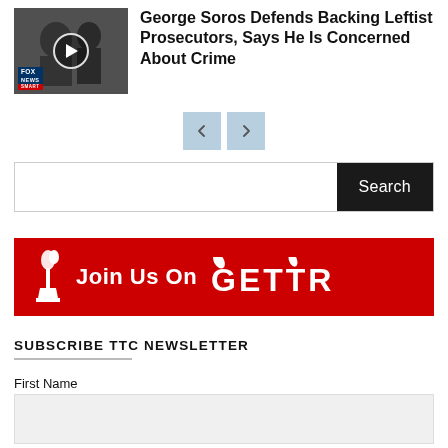[Figure (photo): Video thumbnail showing George Soros with Fox News logo overlay and play button]
George Soros Defends Backing Leftist Prosecutors, Says He Is Concerned About Crime
[Figure (other): Pagination navigation buttons with left and right arrows]
[Figure (other): Search bar with text input and Search button]
[Figure (other): Red banner: Join Us On GETTR with torch logo]
SUBSCRIBE TTC NEWSLETTER
First Name
Last Name